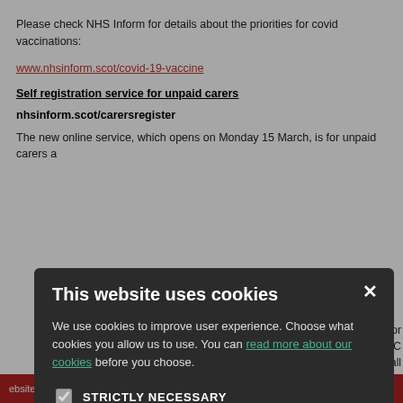Please check NHS Inform for details about the priorities for covid vaccinations:
www.nhsinform.scot/covid-19-vaccine
Self registration service for unpaid carers
nhsinform.scot/carersregister
The new online service, which opens on Monday 15 March, is for unpaid carers a...
[Figure (screenshot): Cookie consent modal dialog over NHS Inform website. Modal has dark background with title 'This website uses cookies', body text about cookies, checkboxes for STRICTLY NECESSARY (checked), PERFORMANCE, TARGETING, FUNCTIONALITY, and two buttons: ACCEPT ALL and DECLINE ALL.]
[Figure (logo): NHS Scotland logo in bottom right]
ebsite | Data Processing Polic